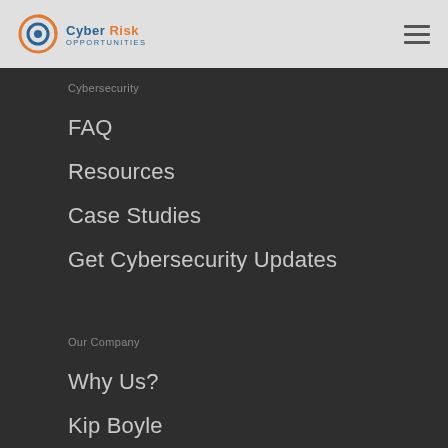[Figure (logo): Cyber Risk Opportunities logo with circular icon and text]
Cybersecurity
FAQ
Resources
Case Studies
Get Cybersecurity Updates
Our Company
Why Us?
Kip Boyle